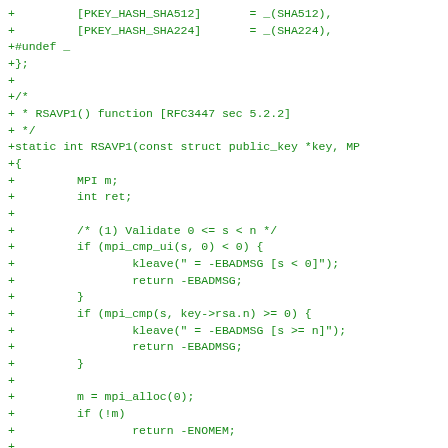[Figure (other): Source code diff showing C code for RSAVP1 function implementation including hash definitions, function signature, variable declarations, validation checks, and MPI operations. Code is shown in green monospace font as a diff (lines prefixed with +).]